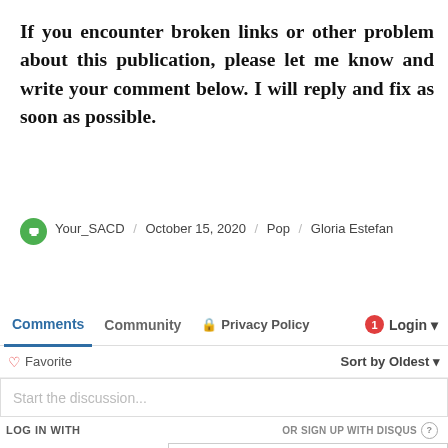If you encounter broken links or other problem about this publication, please let me know and write your comment below. I will reply and fix as soon as possible.
Your_SACD / October 15, 2020 / Pop / Gloria Estefan
[Figure (screenshot): Disqus comments widget with tabs: Comments, Community, Privacy Policy, Login (with notification badge 1). Below: Favorite button, Sort by Oldest dropdown, Start the discussion... text field, LOG IN WITH social icons (D, f, Twitter, G), OR SIGN UP WITH DISQUS, Name input field.]